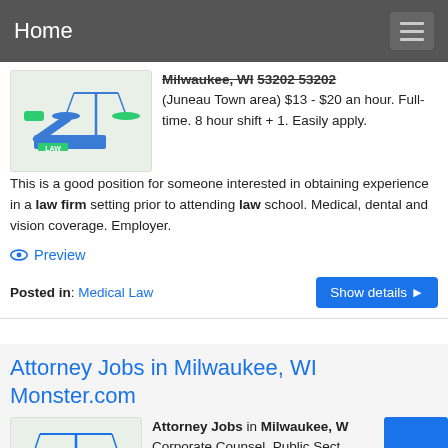Home
[Figure (illustration): Legal scales and gavel illustration with LAW text]
Milwaukee, WI 53202 53202 (Juneau Town area) $13 - $20 an hour. Full-time. 8 hour shift + 1. Easily apply. This is a good position for someone interested in obtaining experience in a law firm setting prior to attending law school. Medical, dental and vision coverage. Employer.
Preview
Posted in: Medical Law
Attorney Jobs in Milwaukee, WI Monster.com
[Figure (illustration): Legal scales illustration]
Attorney Jobs in Milwaukee, WI Corporate Counsel, Public Sect... Arrow Electronics, Inc. Remote, WI...